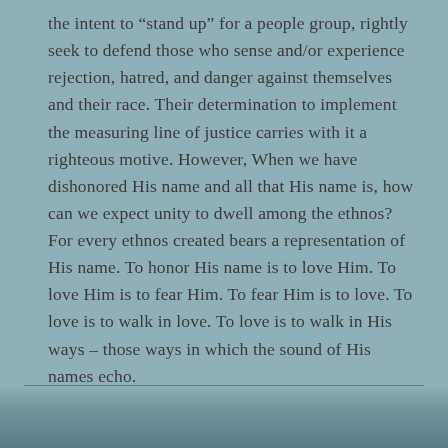the intent to “stand up” for a people group, rightly seek to defend those who sense and/or experience rejection, hatred, and danger against themselves and their race. Their determination to implement the measuring line of justice carries with it a righteous motive. However, When we have dishonored His name and all that His name is, how can we expect unity to dwell among the ethnos? For every ethnos created bears a representation of His name. To honor His name is to love Him. To love Him is to fear Him. To fear Him is to love. To love is to walk in love. To love is to walk in His ways – those ways in which the sound of His names echo.
[Figure (photo): Partial bottom image visible at the very bottom of the page, partially cropped]